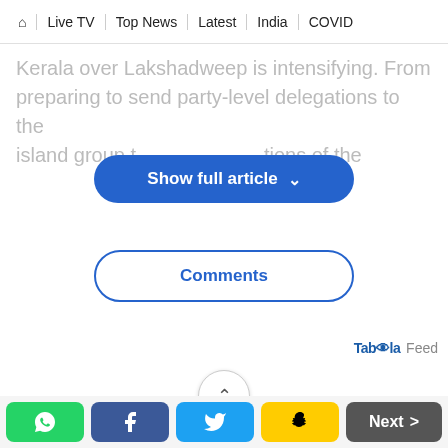🏠 | Live TV | Top News | Latest | India | COVID
Kerala over Lakshadweep is intensifying. From preparing to send party-level delegations to the island group t... tions of the
[Figure (screenshot): Blue rounded button labeled 'Show full article' with a downward chevron]
[Figure (screenshot): White rounded button with blue border labeled 'Comments']
Taboola Feed
[Figure (screenshot): Circular scroll-up button with upward chevron]
WhatsApp | Facebook | Twitter | Snapchat | Next >